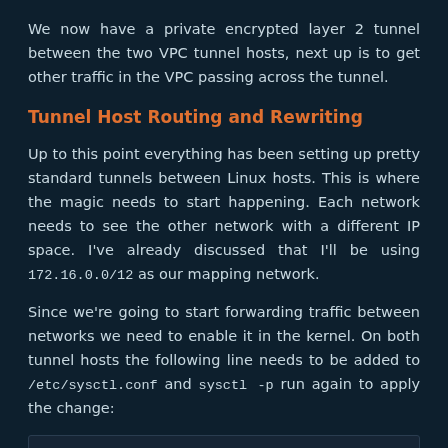We now have a private encrypted layer 2 tunnel between the two VPC tunnel hosts, next up is to get other traffic in the VPC passing across the tunnel.
Tunnel Host Routing and Rewriting
Up to this point everything has been setting up pretty standard tunnels between Linux hosts. This is where the magic needs to start happening. Each network needs to see the other network with a different IP space. I've already discussed that I'll be using 172.16.0.0/12 as our mapping network.
Since we're going to start forwarding traffic between networks we need to enable it in the kernel. On both tunnel hosts the following line needs to be added to /etc/sysctl.conf and sysctl -p run again to apply the change:
net.ipv4.ip_forward = 1
We need to ensure each tunnel server routes our mapping network to the other one. This should be added / removed based on the status of